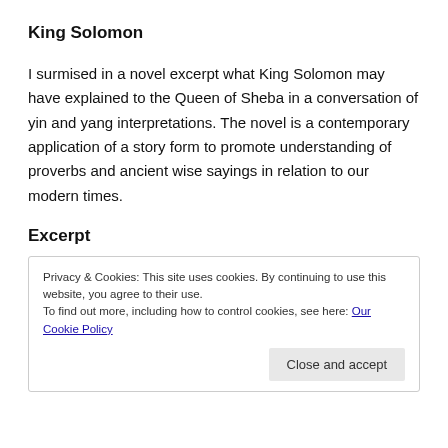King Solomon
I surmised in a novel excerpt what King Solomon may have explained to the Queen of Sheba in a conversation of yin and yang interpretations. The novel is a contemporary application of a story form to promote understanding of proverbs and ancient wise sayings in relation to our modern times.
Excerpt
Privacy & Cookies: This site uses cookies. By continuing to use this website, you agree to their use.
To find out more, including how to control cookies, see here: Our Cookie Policy
Close and accept